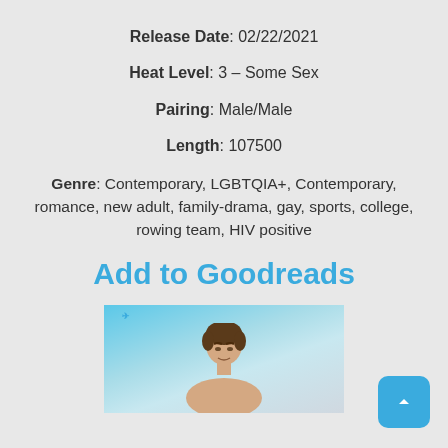Release Date: 02/22/2021
Heat Level: 3 – Some Sex
Pairing: Male/Male
Length: 107500
Genre: Contemporary, LGBTQIA+, Contemporary, romance, new adult, family-drama, gay, sports, college, rowing team, HIV positive
Add to Goodreads
[Figure (photo): Photo of a young man with brown hair against a blue sky background]